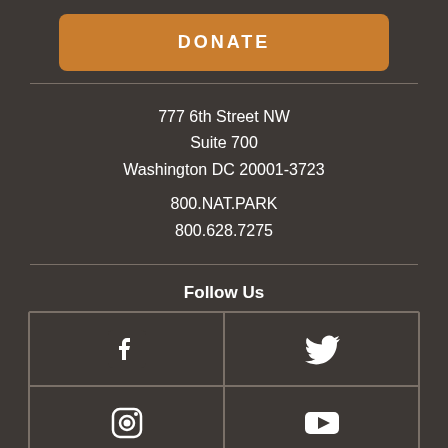[Figure (other): DONATE button in orange/brown color]
777 6th Street NW
Suite 700
Washington DC 20001-3723

800.NAT.PARK
800.628.7275
Follow Us
[Figure (infographic): 2x2 grid of social media icons: Facebook, Twitter, Instagram, YouTube]